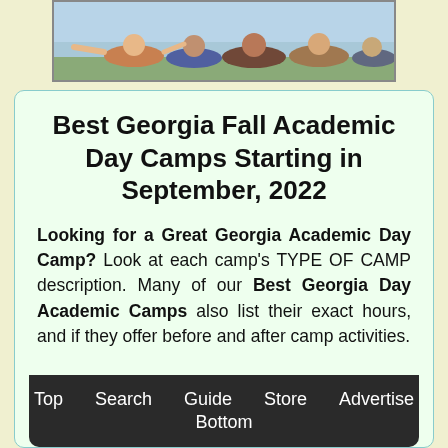[Figure (photo): Group of young people lying down together outdoors, smiling and looking up at the camera]
Best Georgia Fall Academic Day Camps Starting in September, 2022
Looking for a Great Georgia Academic Day Camp? Look at each camp's TYPE OF CAMP description. Many of our Best Georgia Day Academic Camps also list their exact hours, and if they offer before and after camp activities.
Top  Search  Guide  Store  Advertise  Bottom